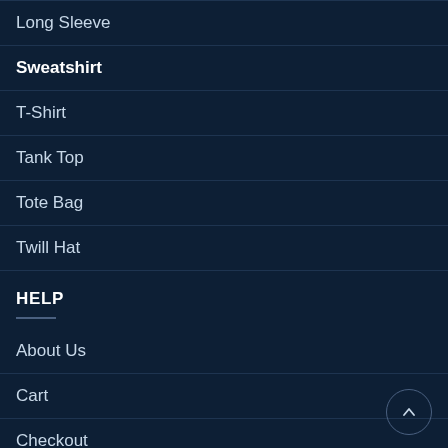Long Sleeve
Sweatshirt
T-Shirt
Tank Top
Tote Bag
Twill Hat
HELP
About Us
Cart
Checkout
Contact Us